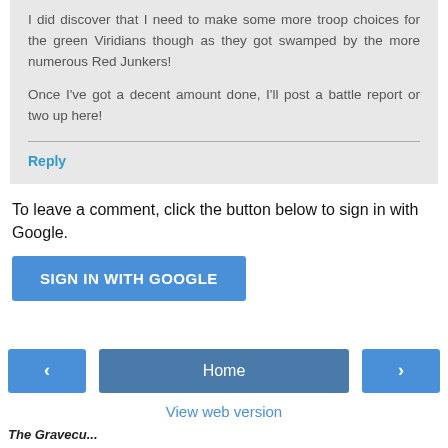I did discover that I need to make some more troop choices for the green Viridians though as they got swamped by the more numerous Red Junkers!

Once I've got a decent amount done, I'll post a battle report or two up here!
Reply
To leave a comment, click the button below to sign in with Google.
SIGN IN WITH GOOGLE
‹
Home
›
View web version
The Gravecu...